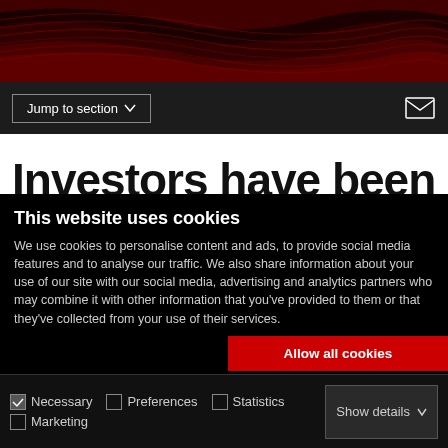[Figure (illustration): Dark red decorative header with wave/ripple pattern in dark red and black tones]
Jump to section ∨
Investors have been hit
This website uses cookies
We use cookies to personalise content and ads, to provide social media features and to analyse our traffic. We also share information about your use of our site with our social media, advertising and analytics partners who may combine it with other information that you've provided to them or that they've collected from your use of their services.
Allow all cookies
Allow selection
Use necessary cookies only
Necessary  Preferences  Statistics  Marketing  Show details